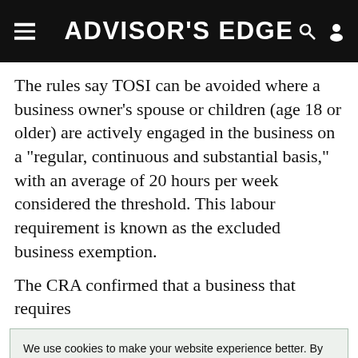ADVISOR'S EDGE
The rules say TOSI can be avoided where a business owner’s spouse or children (age 18 or older) are actively engaged in the business on a “regular, continuous and substantial basis,” with an average of 20 hours per week considered the threshold. This labour requirement is known as the excluded business exemption.
The CRA confirmed that a business that requires
We use cookies to make your website experience better. By accepting this notice and continuing to browse our website you confirm you accept our Terms of Use & Privacy Policy.
read more >>
I Agree